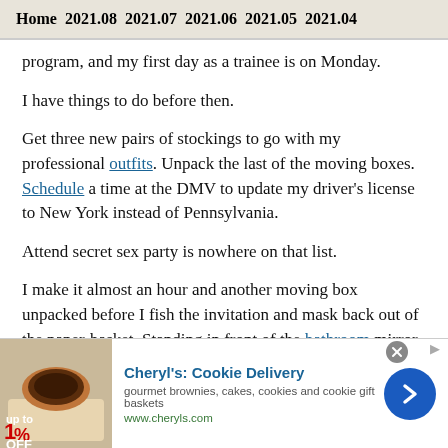Home  2021.08  2021.07  2021.06  2021.05  2021.04
program, and my first day as a trainee is on Monday.
I have things to do before then.
Get three new pairs of stockings to go with my professional outfits. Unpack the last of the moving boxes. Schedule a time at the DMV to update my driver's license to New York instead of Pennsylvania.
Attend secret sex party is nowhere on that list.
I make it almost an hour and another moving box unpacked before I fish the invitation and mask back out of the paper-basket. Standing in front of the bathroom mirror, I put on the
[Figure (other): Advertisement for Cheryl's Cookie Delivery: gourmet brownies, cakes, cookies and cookie gift baskets, www.cheryls.com]